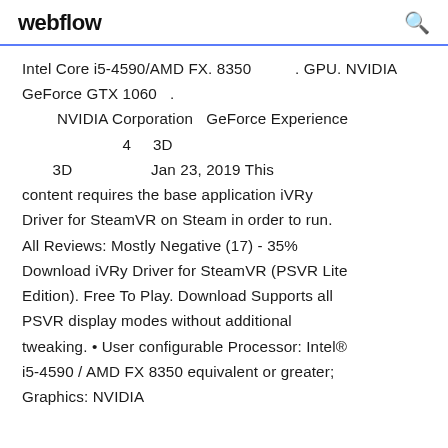webflow
Intel Core i5-4590/AMD FX. 8350   . GPU. NVIDIA GeForce GTX 1060  .
      NVIDIA Corporation  GeForce Experience
                4   3D
        3D              Jan 23, 2019 This content requires the base application iVRy Driver for SteamVR on Steam in order to run. All Reviews: Mostly Negative (17) - 35% Download iVRy Driver for SteamVR (PSVR Lite Edition). Free To Play. Download Supports all PSVR display modes without additional tweaking. • User configurable Processor: Intel® i5-4590 / AMD FX 8350 equivalent or greater; Graphics: NVIDIA